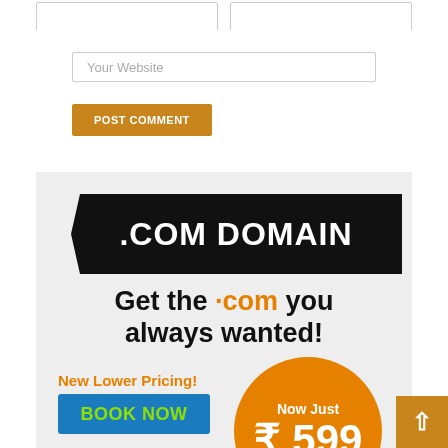[Figure (screenshot): Two small input fields side by side at top (YOUR NAME and YOUR EMAIL placeholders), partially cropped]
Your Website
POST COMMENT
[Figure (infographic): .COM DOMAIN advertisement banner on light grey background. Black ribbon with white text '.COM DOMAIN'. Large text: 'Get the .com you always wanted!' with .com in orange. 'New Lower Pricing!' in orange. Orange circle with 'Now Just ₹599'. Blue 'BOOK NOW' button in green text.]